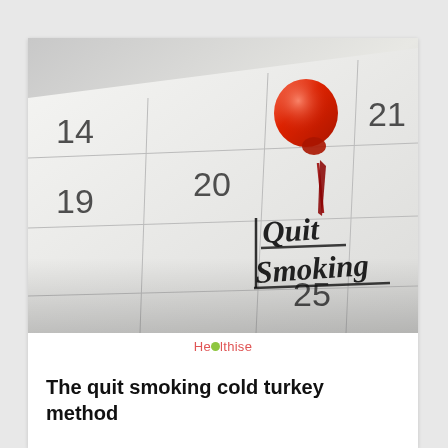[Figure (photo): Close-up photo of a calendar with dates 14, 19, 20, 21, 25 visible. A red pushpin is pinned on the square for day 20, and 'Quit Smoking' is written in black marker handwriting on that date square.]
Healthise
The quit smoking cold turkey method